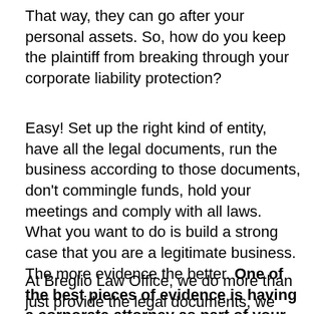That way, they can go after your personal assets. So, how do you keep the plaintiff from breaking through your corporate liability protection?
Easy! Set up the right kind of entity, have all the legal documents, run the business according to those documents, don't commingle funds, hold your meetings and comply with all laws. What you want to do is build a strong case that you are a legitimate business. The more evidence the better. One of the best pieces of evidence is having a corporate attorney as part of your business and in attendance at your meetings.
At Breglio Law Office, we do more than just provide the legal documents, we help you understand how to run your company and can act as your corporate